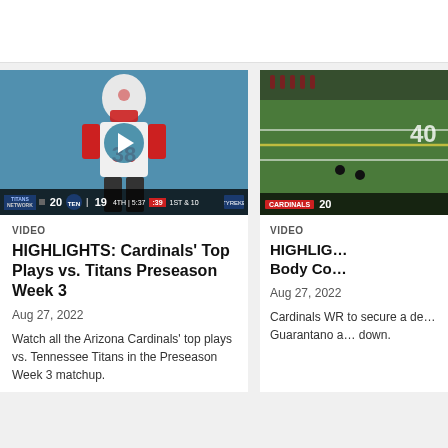[Figure (screenshot): Top white header bar of a website]
[Figure (screenshot): Video thumbnail showing Arizona Cardinals player #38 in white uniform on a teal background, with a play button overlay and game score bar showing Titans 20, Cardinals 19, 4TH quarter, 5:37, :39, 1ST & 10]
VIDEO
HIGHLIGHTS: Cardinals' Top Plays vs. Titans Preseason Week 3
Aug 27, 2022
Watch all the Arizona Cardinals' top plays vs. Tennessee Titans in the Preseason Week 3 matchup.
[Figure (screenshot): Video thumbnail showing aerial view of a football field with players, with score bar showing Cardinals 20]
VIDEO
HIGHLIGHTS: Body Co…
Aug 27, 2022
Cardinals WR to secure a de… Guarantano a… down.